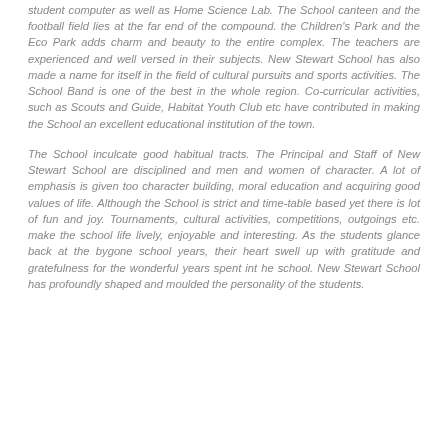student computer as well as Home Science Lab. The School canteen and the football field lies at the far end of the compound. the Children's Park and the Eco Park adds charm and beauty to the entire complex. The teachers are experienced and well versed in their subjects. New Stewart School has also made a name for itself in the field of cultural pursuits and sports activities. The School Band is one of the best in the whole region. Co-curricular activities, such as Scouts and Guide, Habitat Youth Club etc have contributed in making the School an excellent educational institution of the town.
The School inculcate good habitual tracts. The Principal and Staff of New Stewart School are disciplined and men and women of character. A lot of emphasis is given too character building, moral education and acquiring good values of life. Although the School is strict and time-table based yet there is lot of fun and joy. Tournaments, cultural activities, competitions, outgoings etc. make the school life lively, enjoyable and interesting. As the students glance back at the bygone school years, their heart swell up with gratitude and gratefulness for the wonderful years spent int he school. New Stewart School has profoundly shaped and moulded the personality of the students.